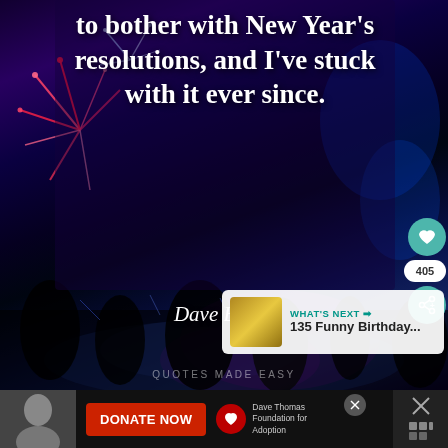[Figure (photo): New Year's Eve fireworks over water at night with silhouetted crowd in foreground. Dark blue and purple tones with colorful firework bursts. Inspirational quote overlay.]
to bother with New Year's resolutions, and I've stuck with it ever since.
Dave Beard
WHAT'S NEXT → 135 Funny Birthday...
[Figure (photo): Advertisement banner at bottom: person photo, DONATE NOW red button, Dave Thomas Foundation for Adoption logo]
DONATE NOW
Dave Thomas Foundation for Adoption